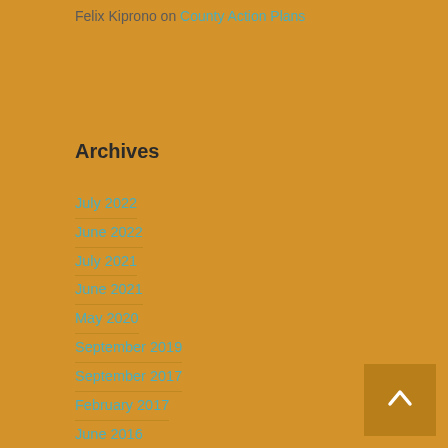Felix Kiprono on County Action Plans
Archives
July 2022
June 2022
July 2021
June 2021
May 2020
September 2019
September 2017
February 2017
June 2016
May 2016
November 2015
March 2015